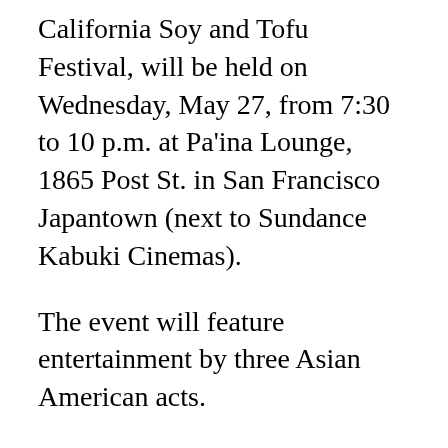California Soy and Tofu Festival, will be held on Wednesday, May 27, from 7:30 to 10 p.m. at Pa'ina Lounge, 1865 Post St. in San Francisco Japantown (next to Sundance Kabuki Cinemas).
The event will feature entertainment by three Asian American acts.
San Francisco-based singer songwriter Curt Yagi was named the 2008 Best of the Bay Singer Songwriter (San Francisco Bay Guardian), and RAW San Francisco Musician of the Year included his song “Sweep Me” on the popular KFOG Local Scene 8 CD in the Bay Area. The Bay